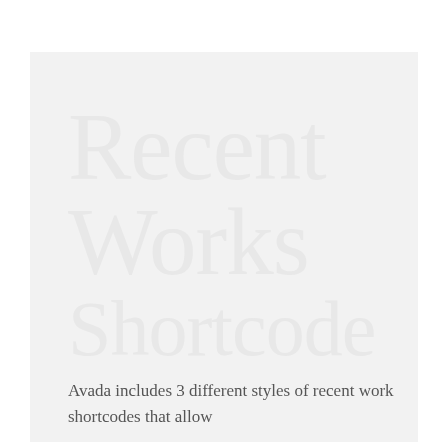Recent Works Shortcode
Avada includes 3 different styles of recent work shortcodes that allow